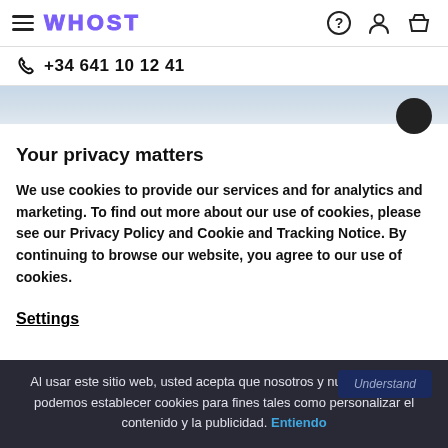WHOST | +34 641 10 12 41
Your privacy matters
We use cookies to provide our services and for analytics and marketing. To find out more about our use of cookies, please see our Privacy Policy and Cookie and Tracking Notice. By continuing to browse our website, you agree to our use of cookies.
Settings
Al usar este sitio web, usted acepta que nosotros y nuestros socios podemos establecer cookies para fines tales como personalizar el contenido y la publicidad. Entiendo